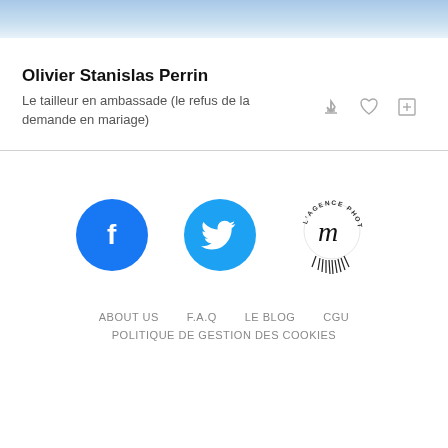Olivier Stanislas Perrin
Le tailleur en ambassade (le refus de la demande en mariage)
[Figure (logo): Social media icons: Facebook circle, Twitter bird circle, and L'Agence Photo m logo with eyelashes]
ABOUT US   F.A.Q   LE BLOG   CGU   POLITIQUE DE GESTION DES COOKIES